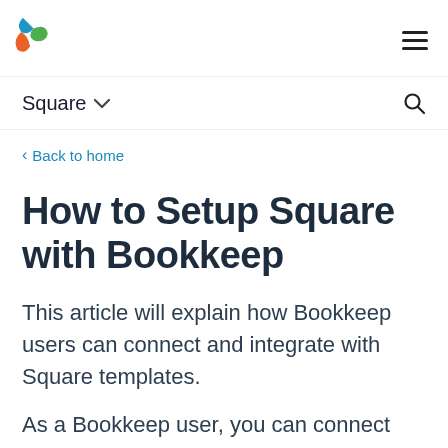Bookkeep logo / navigation header with hamburger menu
Square ▾ navigation bar with search icon
< Back to home
How to Setup Square with Bookkeep
This article will explain how Bookkeep users can connect and integrate with Square templates.
As a Bookkeep user, you can connect third party